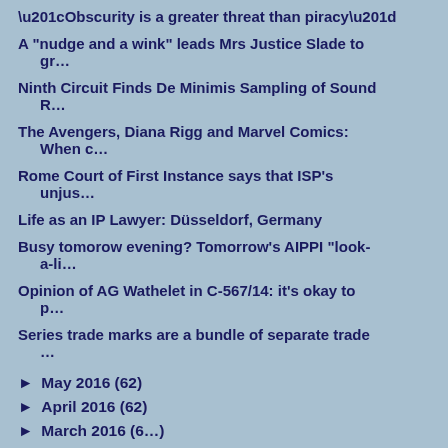“Obscurity is a greater threat than piracy”
A "nudge and a wink" leads Mrs Justice Slade to gr…
Ninth Circuit Finds De Minimis Sampling of Sound R…
The Avengers, Diana Rigg and Marvel Comics: When c…
Rome Court of First Instance says that ISP's unjus…
Life as an IP Lawyer: Düsseldorf, Germany
Busy tomorow evening? Tomorrow's AIPPI "look-a-li…
Opinion of AG Wathelet in C-567/14: it's okay to p…
Series trade marks are a bundle of separate trade …
May 2016 (62)
April 2016 (62)
March 2016 (6…)